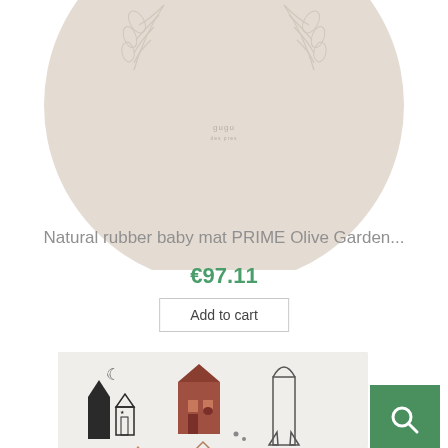[Figure (photo): A round beige/taupe baby mat (circle shape) with a white leaf/botanical line pattern, branded with 'gugu' logo in the center. The mat is partially cropped at the top.]
Natural rubber baby mat PRIME Olive Garden...
€97.11
Add to cart
[Figure (photo): A light grey play mat with illustrated small house icons and city-scape motifs in earth tones (dark, terracotta, tan), a crescent moon, and a small heart. The bottom of the image is cropped.]
[Figure (other): Green search icon button (magnifying glass on dark green square background)]